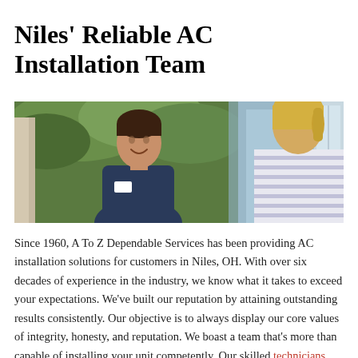Niles' Reliable AC Installation Team
[Figure (photo): A male HVAC technician in a dark blue uniform smiling at a female customer with blonde hair in a ponytail, outdoors near a door with greenery in the background.]
Since 1960, A To Z Dependable Services has been providing AC installation solutions for customers in Niles, OH. With over six decades of experience in the industry, we know what it takes to exceed your expectations. We've built our reputation by attaining outstanding results consistently. Our objective is to always display our core values of integrity, honesty, and reputation. We boast a team that's more than capable of installing your unit competently. Our skilled technicians will get the job done correctly.